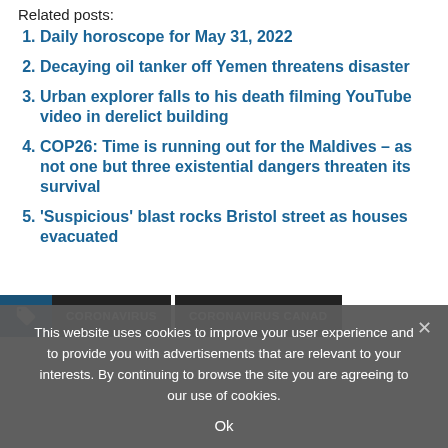Related posts:
1. Daily horoscope for May 31, 2022
2. Decaying oil tanker off Yemen threatens disaster
3. Urban explorer falls to his death filming YouTube video in derelict building
4. COP26: Time is running out for the Maldives – as not one but three existential dangers threaten its survival
5. 'Suspicious' blast rocks Bristol street as houses evacuated
CORONAVIRUS   CORONAVIRUS CANAD
This website uses cookies to improve your user experience and to provide you with advertisements that are relevant to your interests. By continuing to browse the site you are agreeing to our use of cookies.
Ok